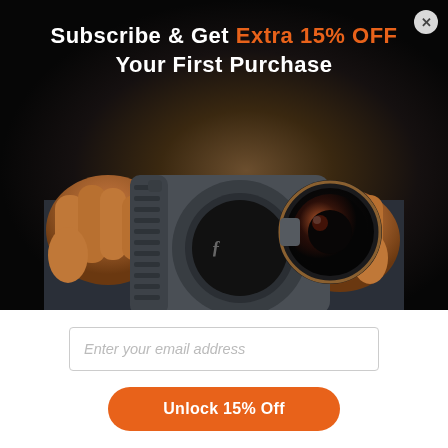[Figure (photo): Person's hands holding a smartphone with a camera grip case and a wide-angle lens attachment, shown against a dark background]
Subscribe & Get Extra 15% OFF Your First Purchase
Enter your email address
Unlock 15% Off